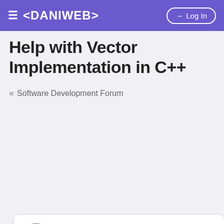≡ <DANIWEB>   → Log In
Help with Vector Implementation in C++
« Software Development Forum
failbot 🏆 0
11 Years Ago
I recently wrote an implementation of STL Vector as a programming exercise. The program compiles but I receive a strange error saying:
terminate called after throwing an instance of
'std::bad_alloc'
  what():  std::bad_alloc